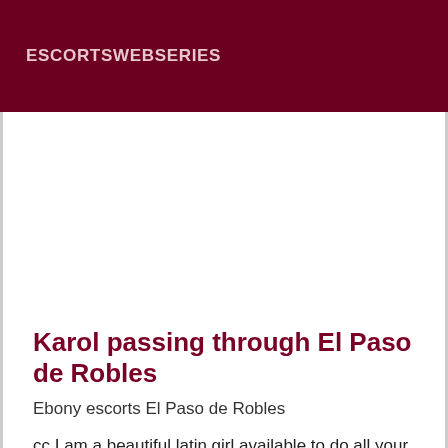ESCORTSWEBSERIES
[Figure (other): Advertisement / blank white space area]
Karol passing through El Paso de Robles
Ebony escorts El Paso de Robles
cc I am a beautiful latin girl available to do all your